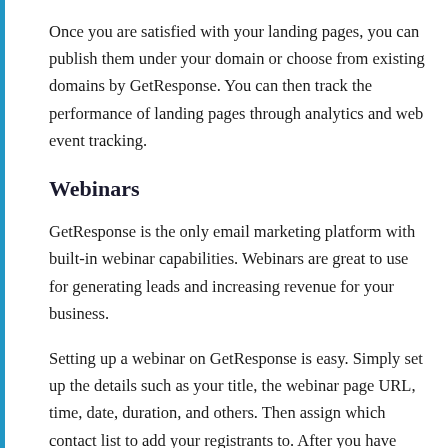Once you are satisfied with your landing pages, you can publish them under your domain or choose from existing domains by GetResponse. You can then track the performance of landing pages through analytics and web event tracking.
Webinars
GetResponse is the only email marketing platform with built-in webinar capabilities. Webinars are great to use for generating leads and increasing revenue for your business.
Setting up a webinar on GetResponse is easy. Simply set up the details such as your title, the webinar page URL, time, date, duration, and others. Then assign which contact list to add your registrants to. After you have saved your settings, you can create landing pages and forms for your audience to